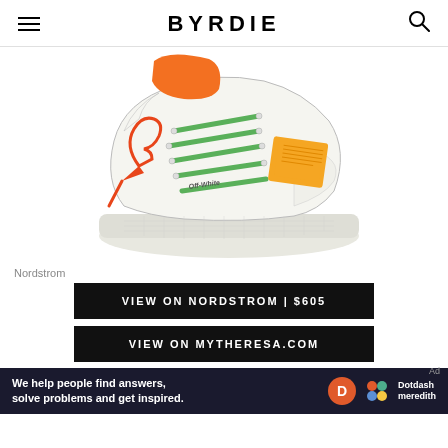BYRDIE
[Figure (photo): White Off-White high-top sneaker with green laces, orange zip-tie tag, and orange square hangtag on white background]
Nordstrom
VIEW ON NORDSTROM | $605
VIEW ON MYTHERESA.COM
Ad
We help people find answers, solve problems and get inspired. Dotdash meredith